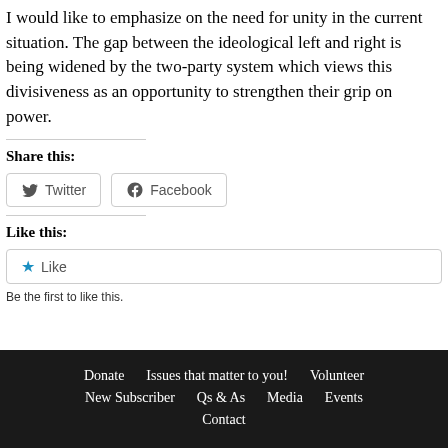I would like to emphasize on the need for unity in the current situation. The gap between the ideological left and right is being widened by the two-party system which views this divisiveness as an opportunity to strengthen their grip on power.
Share this:
[Figure (other): Twitter and Facebook share buttons]
Like this:
[Figure (other): Like button with star icon]
Be the first to like this.
Donate | Issues that matter to you! | Volunteer | New Subscriber | Qs & As | Media | Events | Contact